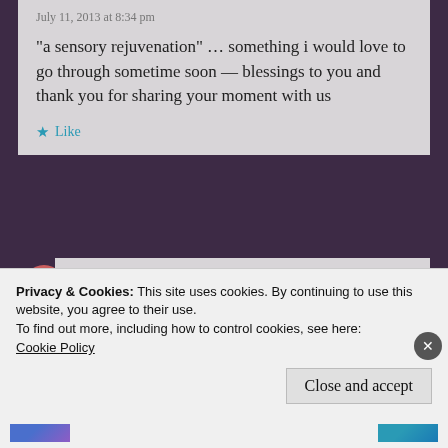July 11, 2013 at 8:34 pm
“a sensory rejuvenation” … something i would love to go through sometime soon — blessings to you and thank you for sharing your moment with us
★ Like
mithriluna
July 12, 2013 at 11:54 am
Thank you.
Privacy & Cookies: This site uses cookies. By continuing to use this website, you agree to their use.
To find out more, including how to control cookies, see here: Cookie Policy
Close and accept